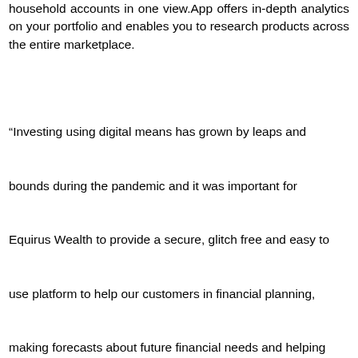household accounts in one view.App offers in-depth analytics on your portfolio and enables you to research products across the entire marketplace.
“Investing using digital means has grown by leaps and bounds during the pandemic and it was important for Equirus Wealth to provide a secure, glitch free and easy to use platform to help our customers in financial planning, making forecasts about future financial needs and helping users achieve financial goals. Equirus Wealth App is designed to monitor portfolio performance, download